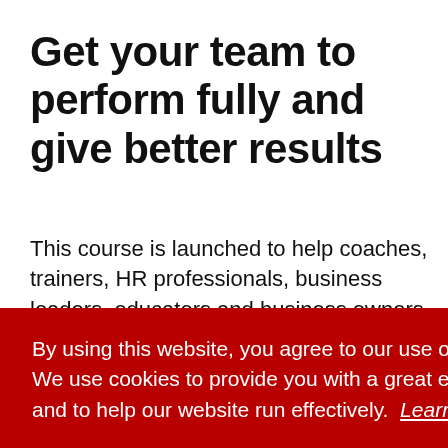Get your team to perform fully and give better results
This course is launched to help coaches, trainers, HR professionals, business leaders, educators and business owners to get access to tools, resources & content to launch and deliver their own Happiness
By using this website, you agree to our use of cookies. We use cookies to provide you with a great experience and to help our website run effectively. Learn more
Got it!
of
people who want to balance